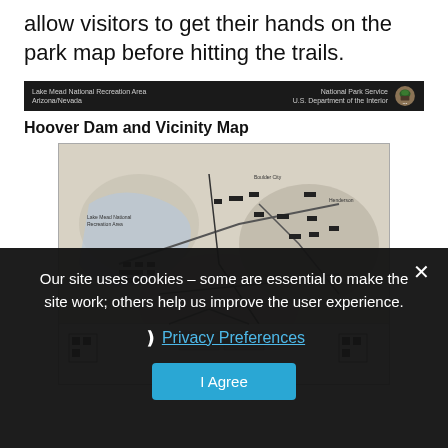allow visitors to get their hands on the park map before hitting the trails.
[Figure (screenshot): NPS Lake Mead National Recreation Area website screenshot showing a park map page header with NPS logo, and the 'Hoover Dam and Vicinity Map' section with a thumbnail of the black and white park map.]
Our site uses cookies – some are essential to make the site work; others help us improve the user experience.
Privacy Preferences
I Agree